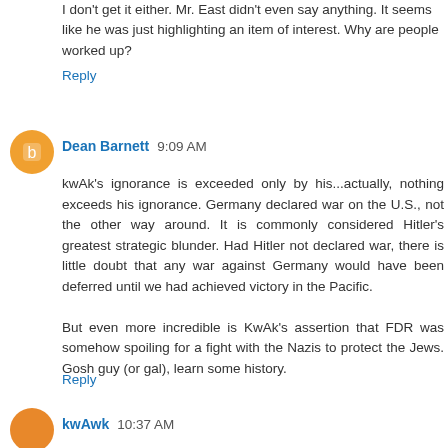I don't get it either. Mr. East didn't even say anything. It seems like he was just highlighting an item of interest. Why are people worked up?
Reply
Dean Barnett  9:09 AM
kwAk's ignorance is exceeded only by his...actually, nothing exceeds his ignorance. Germany declared war on the U.S., not the other way around. It is commonly considered Hitler's greatest strategic blunder. Had Hitler not declared war, there is little doubt that any war against Germany would have been deferred until we had achieved victory in the Pacific.

But even more incredible is KwAk's assertion that FDR was somehow spoiling for a fight with the Nazis to protect the Jews. Gosh guy (or gal), learn some history.
Reply
kwAwk  10:37 AM